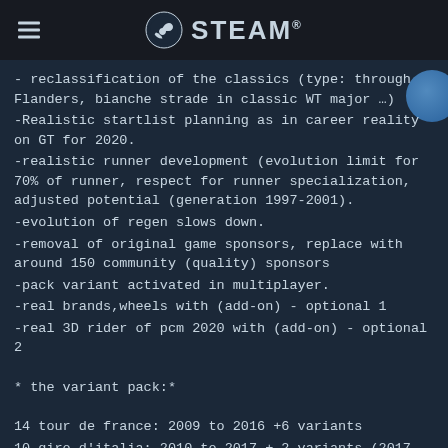STEAM
- reclassification of the classics (type: through Flanders, bianche strade in classic WT major …)
-Realistic startlist planning as in career reality on GT for 2020.
-realistic runner development (evolution limit for 70% of runner, respect for runner specialization, adjusted potential (generation 1997-2001).
-evolution of regen slows down.
-removal of original game sponsors, replace with around 150 community (quality) sponsors
-pack variant activated in multiplayer.
-real brands,wheels with (add-on) - optional 1
-real 3D rider of pcm 2020 with (add-on) - optional 2
* the variant pack:*
14 tour de france: 2009 to 2016 +6 variants
10 giro d'italia: 2010 to 2017 + 2 variants (2017 giro available !!!!)
10 vuelta a espagna: 2010 to 2017+ 2 variants